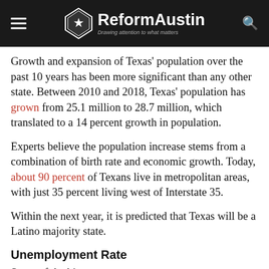ReformAustin — Drawing attention to what matters
Growth and expansion of Texas' population over the past 10 years has been more significant than any other state. Between 2010 and 2018, Texas' population has grown from 25.1 million to 28.7 million, which translated to a 14 percent growth in population.
Experts believe the population increase stems from a combination of birth rate and economic growth. Today, about 90 percent of Texans live in metropolitan areas, with just 35 percent living west of Interstate 35.
Within the next year, it is predicted that Texas will be a Latino majority state.
Unemployment Rate
Some of the big-name...